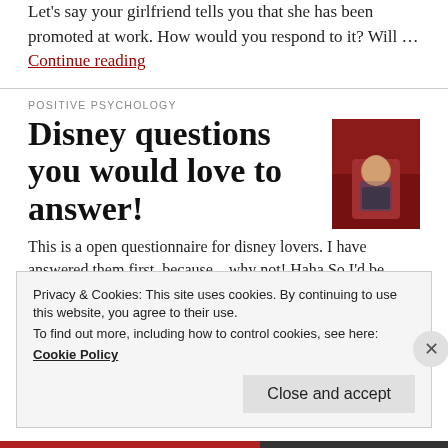Let's say your girlfriend tells you that she has been promoted at work. How would you respond to it? Will … Continue reading
POSITIVE PSYCHOLOGY
Disney questions you would love to answer!
[Figure (photo): A photo of a child in a colorful setting, possibly at a Disney theme]
This is a open questionnaire for disney lovers. I have answered them first, because....why not! Haha So I'd be really … Continue reading
Privacy & Cookies: This site uses cookies. By continuing to use this website, you agree to their use.
To find out more, including how to control cookies, see here:
Cookie Policy
Close and accept